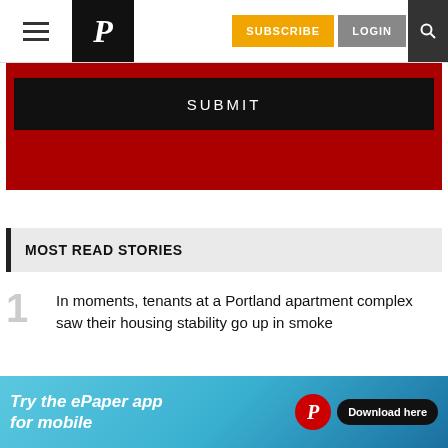P | SUBSCRIBE | LOGIN
[Figure (screenshot): Red submit form area with black SUBMIT button]
MOST READ STORIES
1. In moments, tenants at a Portland apartment complex saw their housing stability go up in smoke
2. Hidden charges, denied claims: Medical
[Figure (infographic): Ad banner: Try the ePaper app for mobile. Download here.]